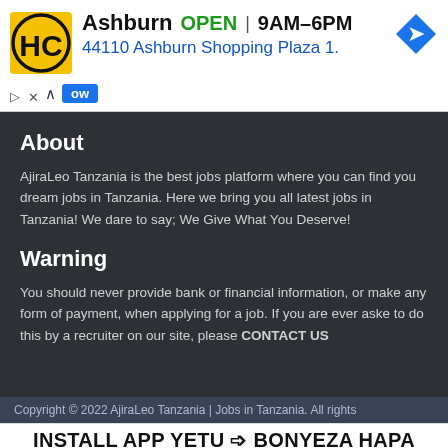[Figure (screenshot): Advertisement banner showing HC logo, Ashburn location OPEN 9AM-6PM, address 44110 Ashburn Shopping Plaza 1., navigation icon, with up arrow and 'ow' button overlay]
About
AjiraLeo Tanzania is the best jobs platform where you can find you dream jobs in Tanzania. Here we bring you all latest jobs in Tanzania! We dare to say; We Give What You Deserve!
Warning
You should never provide bank or financial information, or make any form of payment, when applying for a job. If you are ever aske to do this by a recruiter on our site, please CONTACT US
Copyright © 2022 AjiraLeo Tanzania | Jobs in Tanzania. All rights
INSTALL APP YETU ⇒ BONYEZA HAPA